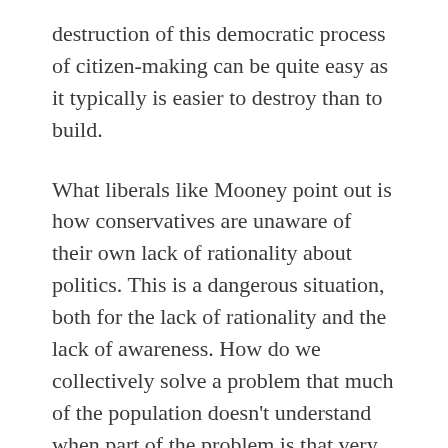destruction of this democratic process of citizen-making can be quite easy as it typically is easier to destroy than to build.
What liberals like Mooney point out is how conservatives are unaware of their own lack of rationality about politics. This is a dangerous situation, both for the lack of rationality and the lack of awareness. How do we collectively solve a problem that much of the population doesn't understand when part of the problem is that very same lack of understanding? A democracy is a